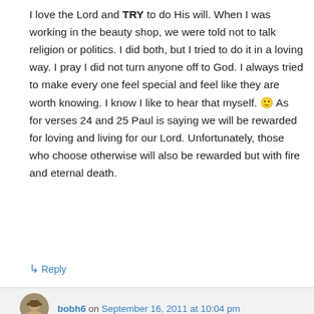I love the Lord and TRY to do His will. When I was working in the beauty shop, we were told not to talk religion or politics. I did both, but I tried to do it in a loving way. I pray I did not turn anyone off to God. I always tried to make every one feel special and feel like they are worth knowing. I know I like to hear that myself. 🙂 As for verses 24 and 25 Paul is saying we will be rewarded for loving and living for our Lord. Unfortunately, those who choose otherwise will also be rewarded but with fire and eternal death.
↳ Reply
bobh6 on September 16, 2011 at 10:04 pm